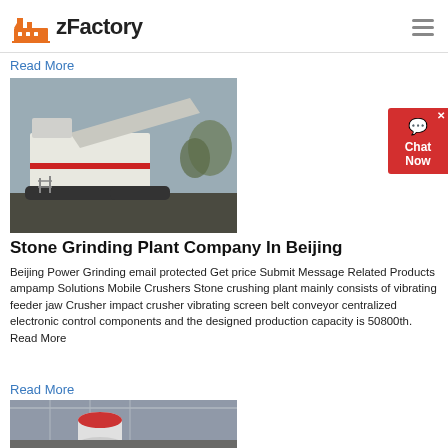zFactory
Read More
[Figure (photo): Mobile stone crushing plant on tracks at outdoor quarry site]
[Figure (other): Chat Now widget button]
Stone Grinding Plant Company In Beijing
Beijing Power Grinding email protected Get price Submit Message Related Products ampamp Solutions Mobile Crushers Stone crushing plant mainly consists of vibrating feeder jaw Crusher impact crusher vibrating screen belt conveyor centralized electronic control components and the designed production capacity is 50800th. Read More
Read More
[Figure (photo): Interior of industrial factory building with large red and white cylindrical grinding mill equipment]